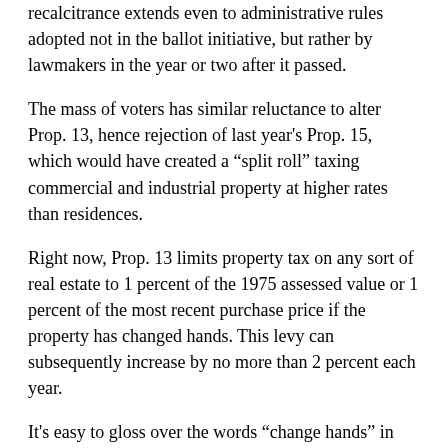recalcitrance extends even to administrative rules adopted not in the ballot initiative, but rather by lawmakers in the year or two after it passed.
The mass of voters has similar reluctance to alter Prop. 13, hence rejection of last year’s Prop. 15, which would have created a “split roll” taxing commercial and industrial property at higher rates than residences.
Right now, Prop. 13 limits property tax on any sort of real estate to 1 percent of the 1975 assessed value or 1 percent of the most recent purchase price if the property has changed hands. This levy can subsequently increase by no more than 2 percent each year.
It’s easy to gloss over the words “change hands” in that description, as it seems obvious that changing hands means a shift in who controls a property.
But that’s not how Prop. 13 works. Rules set by the Legislature less than a year after the measure passed